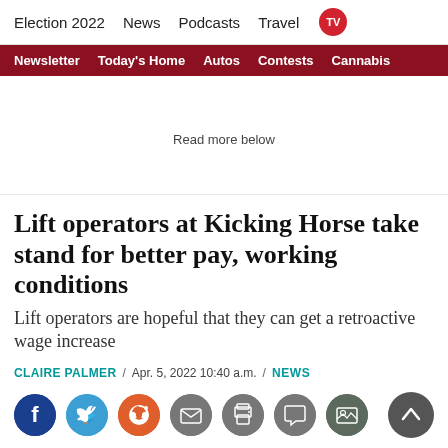Election 2022  News  Podcasts  Travel  TV
Newsletter  Today's Home  Autos  Contests  Cannabis
Read more below
Lift operators at Kicking Horse take stand for better pay, working conditions
Lift operators are hopeful that they can get a retroactive wage increase
CLAIRE PALMER / Apr. 5, 2022 10:40 a.m. / NEWS